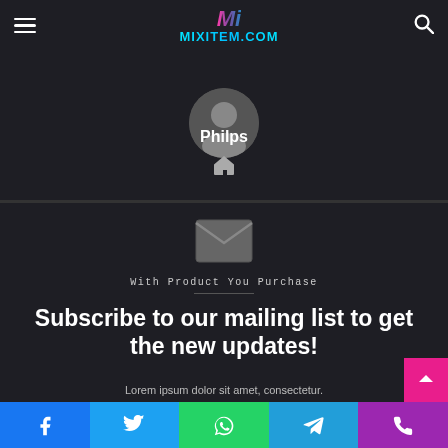[Figure (screenshot): Website header with hamburger menu, MIXITEM.COM logo, and search icon on dark background]
[Figure (photo): Circular user profile avatar (dark silhouette)]
Philps
[Figure (illustration): Home icon symbol]
[Figure (illustration): Envelope/mail icon]
With Product You Purchase
Subscribe to our mailing list to get the new updates!
Lorem ipsum dolor sit amet, consectetur.
[Figure (illustration): Social media share bar with Facebook, Twitter, WhatsApp, Telegram, Phone icons]